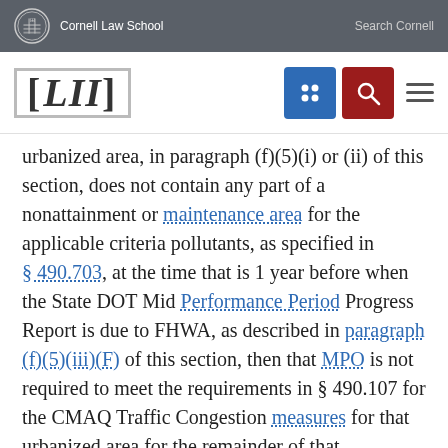Cornell Law School   Search Cornell
[Figure (logo): LII Legal Information Institute logo with Cornell Law School branding, navigation icons including a grid/menu icon in blue and a search icon in red, and a hamburger menu]
urbanized area, in paragraph (f)(5)(i) or (ii) of this section, does not contain any part of a nonattainment or maintenance area for the applicable criteria pollutants, as specified in § 490.703, at the time that is 1 year before when the State DOT Mid Performance Period Progress Report is due to FHWA, as described in paragraph (f)(5)(iii)(F) of this section, then that MPO is not required to meet the requirements in § 490.107 for the CMAQ Traffic Congestion measures for that urbanized area for the remainder of that performance period.